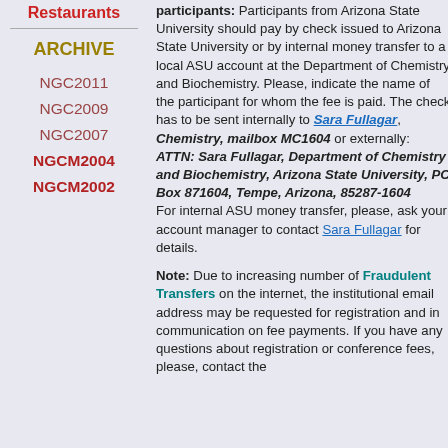Restaurants
ARCHIVE
NGC2011
NGC2009
NGC2007
NGCM2004
NGCM2002
participants: Participants from Arizona State University should pay by check issued to Arizona State University or by internal money transfer to a local ASU account at the Department of Chemistry and Biochemistry. Please, indicate the name of the participant for whom the fee is paid. The check has to be sent internally to Sara Fullagar, Chemistry, mailbox MC1604 or externally: ATTN: Sara Fullagar, Department of Chemistry and Biochemistry, Arizona State University, PO Box 871604, Tempe, Arizona, 85287-1604 For internal ASU money transfer, please, ask your account manager to contact Sara Fullagar for details.
Note: Due to increasing number of Fraudulent Transfers on the internet, the institutional email address may be requested for registration and in communication on fee payments. If you have any questions about registration or conference fees, please, contact the